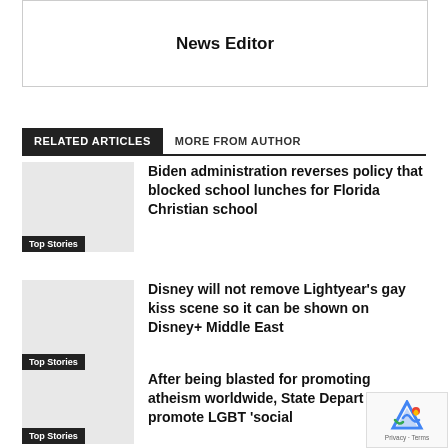News Editor
RELATED ARTICLES   MORE FROM AUTHOR
Top Stories — Biden administration reverses policy that blocked school lunches for Florida Christian school
Top Stories — Disney will not remove Lightyear's gay kiss scene so it can be shown on Disney+ Middle East
Top Stories — After being blasted for promoting atheism worldwide, State Depart will now promote LGBT 'social